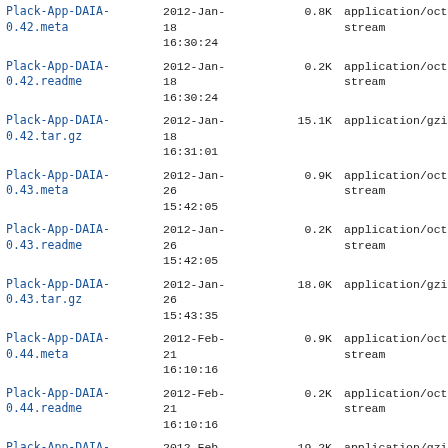| Name | Date | Size | Type |
| --- | --- | --- | --- |
| Plack-App-DAIA-0.42.meta | 2012-Jan-18 16:30:24 | 0.8K | application/octet-stream |
| Plack-App-DAIA-0.42.readme | 2012-Jan-18 16:30:24 | 0.2K | application/octet-stream |
| Plack-App-DAIA-0.42.tar.gz | 2012-Jan-18 16:31:01 | 15.1K | application/gzip |
| Plack-App-DAIA-0.43.meta | 2012-Jan-26 15:42:05 | 0.9K | application/octet-stream |
| Plack-App-DAIA-0.43.readme | 2012-Jan-26 15:42:05 | 0.2K | application/octet-stream |
| Plack-App-DAIA-0.43.tar.gz | 2012-Jan-26 15:43:35 | 18.0K | application/gzip |
| Plack-App-DAIA-0.44.meta | 2012-Feb-21 16:10:16 | 0.9K | application/octet-stream |
| Plack-App-DAIA-0.44.readme | 2012-Feb-21 16:10:16 | 0.2K | application/octet-stream |
| Plack-App-DAIA-0.44.tar.gz | 2012-Feb-21 16:12:51 | 19.2K | application/gzip |
| Plack-App-DAIA-0.45_1.tar.gz | 2012-May-03 15:38:37 | 45.6K | application/gzip |
| Plack-App-DAIA-0.45.meta | 2012-Feb-22 12:25:02 | 0.9K | application/octet-stream |